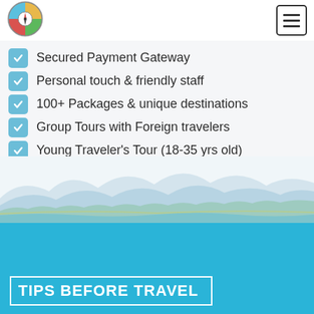[Figure (logo): Circular compass/travel logo with colorful quadrants]
Secured Payment Gateway
Personal touch & friendly staff
100+ Packages & unique destinations
Group Tours with Foreign travelers
Young Traveler's Tour (18-35 yrs old)
[Figure (illustration): Layered landscape illustration with mountains, trees, and water in light blue tones]
TIPS BEFORE TRAVEL